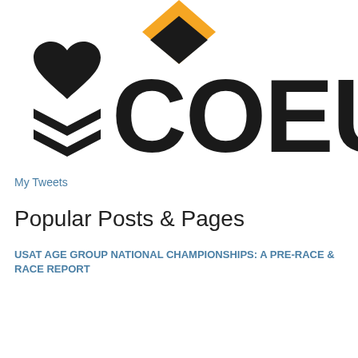[Figure (logo): Coeur Sports logo — black heart and double chevron/arrow marks on the left, with the word COEUR in large bold black letters, partially visible orange/black diamond shape at the top]
My Tweets
Popular Posts & Pages
USAT AGE GROUP NATIONAL CHAMPIONSHIPS: A PRE-RACE & RACE REPORT